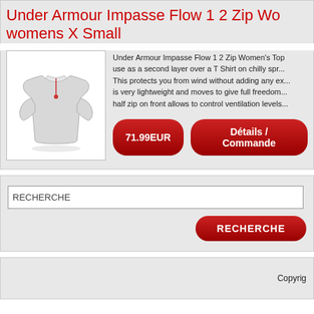Under Armour Impasse Flow 1 2 Zip womens X Small
[Figure (photo): White Under Armour half-zip women's top product photo on white background]
Under Armour Impasse Flow 1 2 Zip Women's Top use as a second layer over a T Shirt on chilly spr... This protects you from wind without adding any ex... is very lightweight and moves to give full freedom... half zip on front allows to control ventilation levels...
71.99EUR
Détails / Commande
RECHERCHE
RECHERCHE
Copyrig